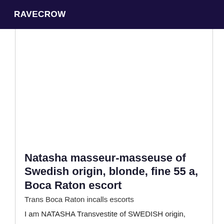RAVECROW
Natasha masseur-masseuse of Swedish origin, blonde, fine 55 a, Boca Raton escort
Trans Boca Raton incalls escorts
I am NATASHA Transvestite of SWEDISH origin,